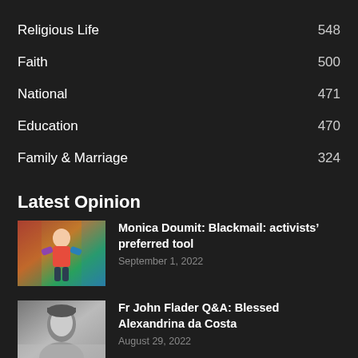Religious Life  548
Faith  500
National  471
Education  470
Family & Marriage  324
Latest Opinion
[Figure (photo): Child on colorful play equipment outdoors]
Monica Doumit: Blackmail: activists' preferred tool
September 1, 2022
[Figure (photo): Black and white portrait of a young woman]
Fr John Flader Q&A: Blessed Alexandrina da Costa
August 29, 2022
[Figure (photo): Partial image of third article, cut off at bottom]